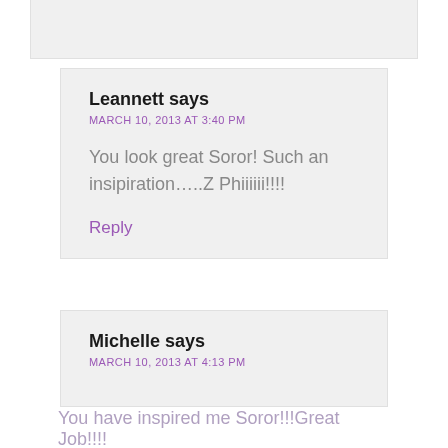Leannett says
MARCH 10, 2013 AT 3:40 PM
You look great Soror! Such an insipiration…..Z Phiiiiii!!!!
Reply
Michelle says
MARCH 10, 2013 AT 4:13 PM
You have inspired me Soror!!!Great Job!!!!